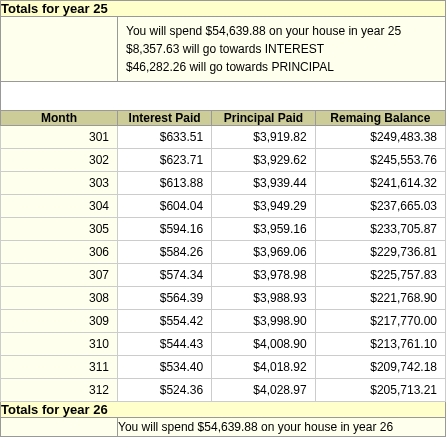Totals for year 25
You will spend $54,639.88 on your house in year 25
$8,357.63 will go towards INTEREST
$46,282.26 will go towards PRINCIPAL
| Month | Interest Paid | Principal Paid | Remaing Balance |
| --- | --- | --- | --- |
| 301 | $633.51 | $3,919.82 | $249,483.38 |
| 302 | $623.71 | $3,929.62 | $245,553.76 |
| 303 | $613.88 | $3,939.44 | $241,614.32 |
| 304 | $604.04 | $3,949.29 | $237,665.03 |
| 305 | $594.16 | $3,959.16 | $233,705.87 |
| 306 | $584.26 | $3,969.06 | $229,736.81 |
| 307 | $574.34 | $3,978.98 | $225,757.83 |
| 308 | $564.39 | $3,988.93 | $221,768.90 |
| 309 | $554.42 | $3,998.90 | $217,770.00 |
| 310 | $544.43 | $4,008.90 | $213,761.10 |
| 311 | $534.40 | $4,018.92 | $209,742.18 |
| 312 | $524.36 | $4,028.97 | $205,713.21 |
Totals for year 26
You will spend $54,639.88 on your house in year 26